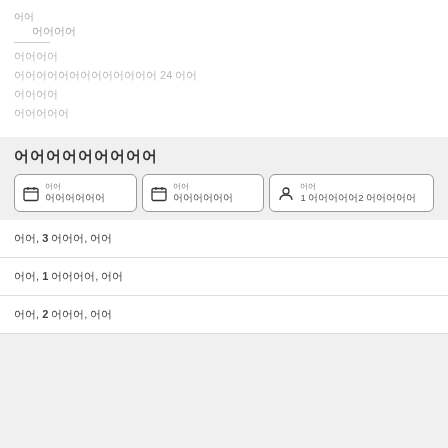어디 어디어어
어어어어
어어어어어어어어어어어어어 24 어어
어어어어
어어어어어
어어어어어어어어어
어어  어어어어어어  어어  어어어어어어  어어  1 어어어어어2 어어어어어
어어, 3 어어어, 어어
어어, 1 어어어어, 어어
어어, 2 어어어, 어어